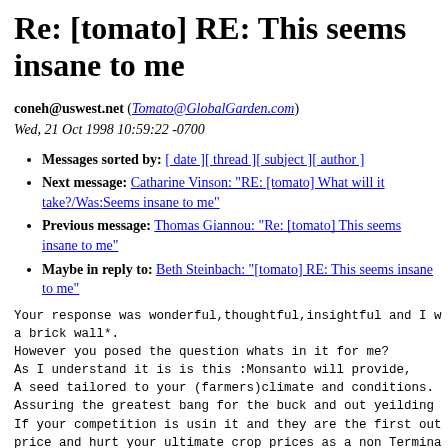Re: [tomato] RE: This seems insane to me
coneh@uswest.net (Tomato@GlobalGarden.com)
Wed, 21 Oct 1998 10:59:22 -0700
Messages sorted by: [ date ][ thread ][ subject ][ author ]
Next message: Catharine Vinson: "RE: [tomato] What will it take?/Was:Seems insane to me"
Previous message: Thomas Giannou: "Re: [tomato] This seems insane to me"
Maybe in reply to: Beth Steinbach: "[tomato] RE: This seems insane to me"
Your response was wonderful,thoughtful,insightful and I w
a brick wall*.
However you posed the question whats in it for me?
As I understand it is is this :Monsanto will provide,
A seed tailored to your (farmers)climate and conditions.
Assuring the greatest bang for the buck and out yeilding
If your competition is usin it and they are the first out
price and hurt your ultimate crop prices as a non Termina
They might hang back initially but have to succumb as a m
order to stay competitive.